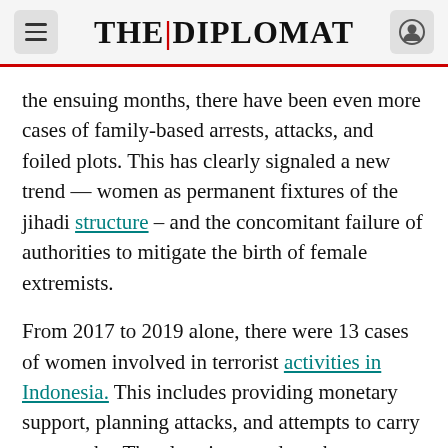THE DIPLOMAT
the ensuing months, there have been even more cases of family-based arrests, attacks, and foiled plots. This has clearly signaled a new trend — women as permanent fixtures of the jihadi structure – and the concomitant failure of authorities to mitigate the birth of female extremists.
From 2017 to 2019 alone, there were 13 cases of women involved in terrorist activities in Indonesia. This includes providing monetary support, planning attacks, and attempts to carry out attacks. The alarming trend can be attributed to the weak application of gender-based local Preventing and Countering Violent Extremism (PCVE) policies and initiatives. The weak implementation and loose understanding of gender mainstreaming